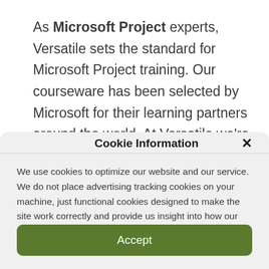As Microsoft Project experts, Versatile sets the standard for Microsoft Project training. Our courseware has been selected by Microsoft for their learning partners around the world. At Versatile we're
Cookie Information
We use cookies to optimize our website and our service. We do not place advertising tracking cookies on your machine, just functional cookies designed to make the site work correctly and provide us insight into how our visitors are interacting with the website.
Accept